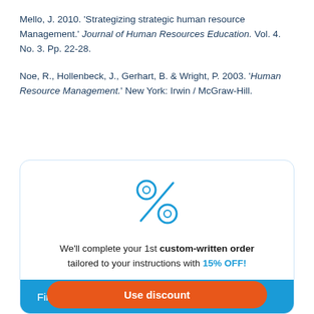Mello, J. 2010. 'Strategizing strategic human resource Management.' Journal of Human Resources Education. Vol. 4. No. 3. Pp. 22-28.
Noe, R., Hollenbeck, J., Gerhart, B. & Wright, P. 2003. 'Human Resource Management.' New York: Irwin / McGraw-Hill.
[Figure (illustration): Percentage sign icon rendered in blue outline style]
We'll complete your 1st custom-written order tailored to your instructions with 15% OFF!
Use discount
Find out the price of your paper →